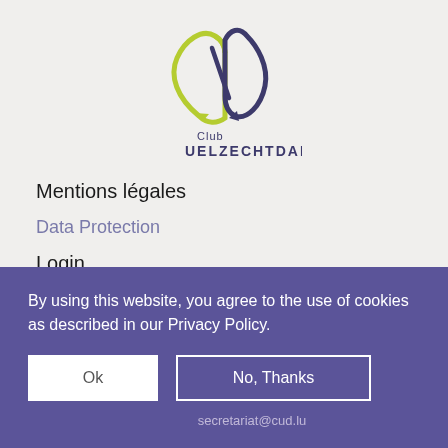[Figure (logo): Club Uelzechtdall logo with two overlapping water-drop shapes in yellow-green and dark blue/purple, with text 'Club UELZECHTDALL' below]
Mentions légales
Data Protection
Login
By using this website, you agree to the use of cookies as described in our Privacy Policy.
Ok
No, Thanks
secretariat@cud.lu